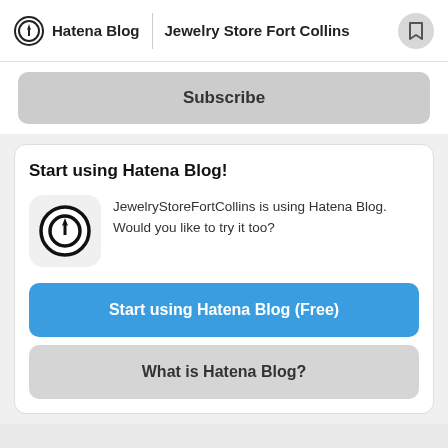Hatena Blog | Jewelry Store Fort Collins
Subscribe
Start using Hatena Blog!
JewelryStoreFortCollins is using Hatena Blog. Would you like to try it too?
Start using Hatena Blog (Free)
What is Hatena Blog?